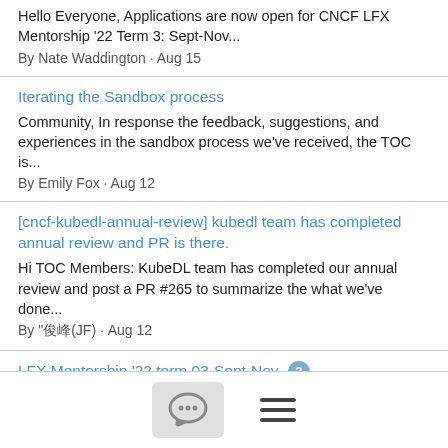Hello Everyone, Applications are now open for CNCF LFX Mentorship '22 Term 3: Sept-Nov...
By Nate Waddington · Aug 15
Iterating the Sandbox process
Community, In response the feedback, suggestions, and experiences in the sandbox process we've received, the TOC is...
By Emily Fox · Aug 12
[cncf-kubedl-annual-review] kubedl team has completed annual review and PR is there.
Hi TOC Members: KubeDL team has completed our annual review and post a PR #265 to summarize the what we've done...
By "俊峰(JF) · Aug 12
LFX Mentorship '22 term 03-Sept-Nov 2
Hello everyone! The new LFX Mentorship term (03-Sept-Nov) is now open for project ideas:...
By Nate Waddington · Aug 11
[Figure (screenshot): Bottom navigation bar with a chat bubble icon button and a hamburger menu icon]